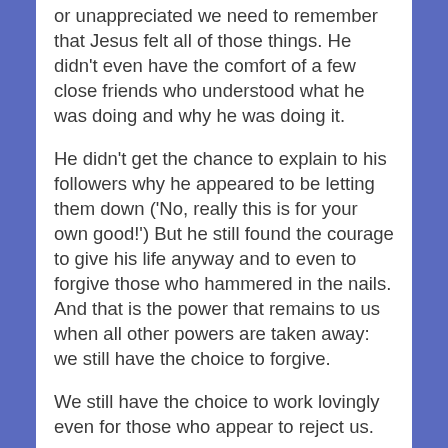or unappreciated we need to remember that Jesus felt all of those things. He didn't even have the comfort of a few close friends who understood what he was doing and why he was doing it.
He didn't get the chance to explain to his followers why he appeared to be letting them down ('No, really this is for your own good!') But he still found the courage to give his life anyway and to even to forgive those who hammered in the nails. And that is the power that remains to us when all other powers are taken away: we still have the choice to forgive.
We still have the choice to work lovingly even for those who appear to reject us.
Lord, give us the grace to follow in your footsteps